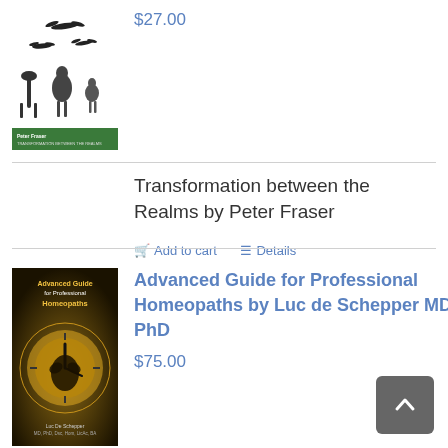[Figure (illustration): Book cover: Transformation between the Realms by Peter Fraser. Black and white birds on white background, green band at bottom with title text.]
$27.00
Transformation between the Realms by Peter Fraser
Add to cart   Details
[Figure (illustration): Book cover: Advanced Guide for Professional Homeopaths by Luc de Schepper MD, PhD. Dark background with golden/yellow circular design and clock imagery.]
Advanced Guide for Professional Homeopaths by Luc de Schepper MD, PhD
$75.00